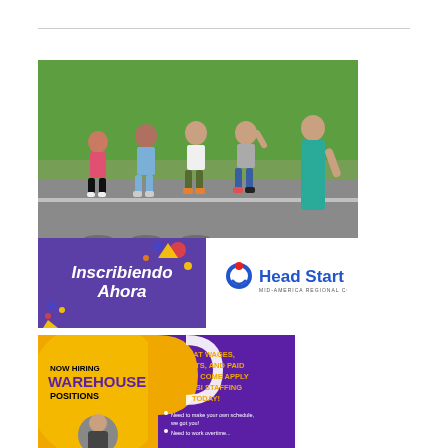[Figure (photo): Top image: Photo of young children playing outdoors on pavement with a teacher, green grass in background. Below the photo is a purple banner with white text 'Inscribiendo Ahora' on the left and the Head Start Mid-America Regional Council logo on the right white area.]
[Figure (infographic): Job advertisement with yellow and purple design. Left side on yellow background says 'NOW HIRING WAREHOUSE POSITIONS'. Right side on purple background says 'GREAT WAGES, BENEFITS, AND PAID TIME OFF COME APPLY WITH LSI STAFFING TODAY!' with bullet points including 'Need to make your own schedule, we got you!']